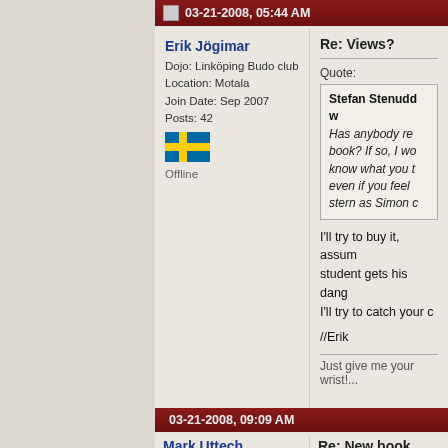03-21-2008, 05:44 AM
Erik Jögimar
Dojo: Linköping Budo club
Location: Motala
Join Date: Sep 2007
Posts: 42
Offline
Re: Views?
Quote:
Stefan Stenudd w... Has anybody re... book? If so, I wo... know what you t... even if you feel ... stern as Simon c...
I'll try to buy it, assum... student gets his dang... I'll try to catch your c...
//Erik
Just give me your wrist!...
03-21-2008, 09:09 AM
Mark Uttech
Dojo: Yoshin-ji Aikido of Marshall
Re: New book about ai... ideas